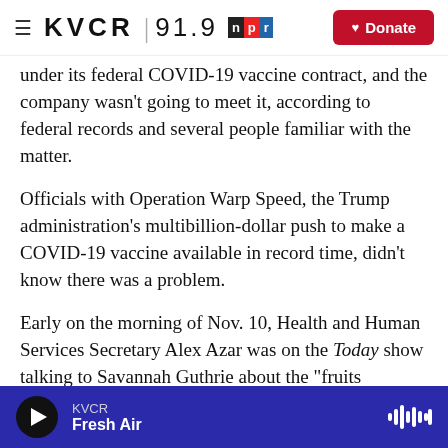≡ KVCR 91.9 npr [Donate]
under its federal COVID-19 vaccine contract, and the company wasn't going to meet it, according to federal records and several people familiar with the matter.
Officials with Operation Warp Speed, the Trump administration's multibillion-dollar push to make a COVID-19 vaccine available in record time, didn't know there was a problem.
Early on the morning of Nov. 10, Health and Human Services Secretary Alex Azar was on the Today show talking to Savannah Guthrie about the "fruits
KVCR Fresh Air